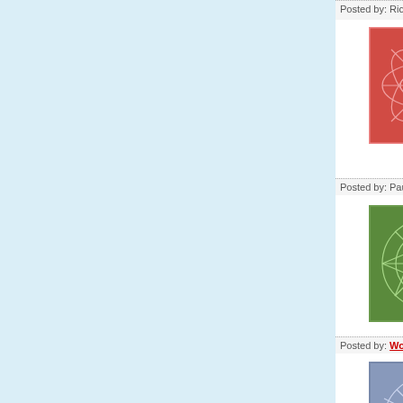Posted by: Richard Gosling | May 04, 2007 a...
[Figure (illustration): Pink/red decorative square avatar with geometric pattern]
Well, I hope you are all happy.

The goat is dead now.

http://news.bbc.co.uk/1/hi/world/africa...

I hope you are all happy, driving the p...

Shame on you all
Posted by: Paul | May 04, 2007 at 12:28 AM
[Figure (illustration): Green decorative square avatar with geometric starburst pattern]
"Having sex with your neighbor's goa... I think I get it. You're trying to piss pe... so that they'll 'pirate' your stuff, thereb... Sheer diabolical genius.
Posted by: Wolfger | April 25, 2007 at 04:55 P...
[Figure (illustration): Blue/purple decorative square avatar with geometric snowflake pattern]
Ok, way too many animal humping bl... transmitted diseases can be traced b...